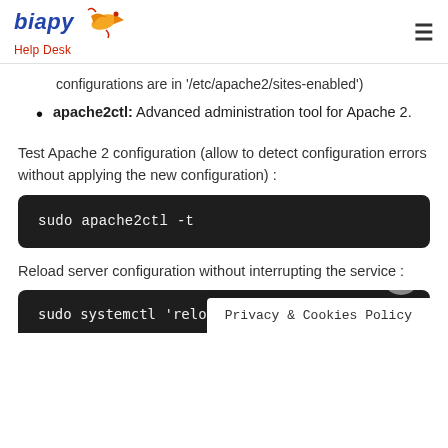biapy Help Desk
configurations are in '/etc/apache2/sites-enabled')
apache2ctl: Advanced administration tool for Apache 2.
Test Apache 2 configuration (allow to detect configuration errors without applying the new configuration) :
sudo apache2ctl -t
Reload server configuration without interrupting the service :
sudo systemctl 'relo